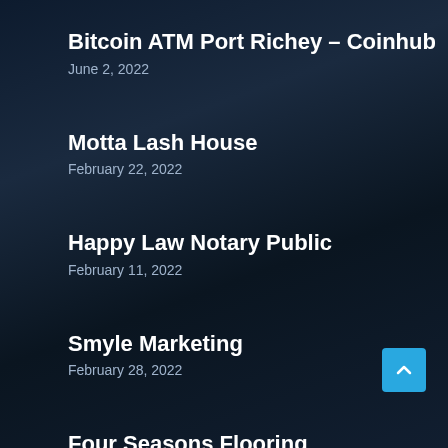Bitcoin ATM Port Richey – Coinhub
June 2, 2022
Motta Lash House
February 22, 2022
Happy Law Notary Public
February 11, 2022
Smyle Marketing
February 28, 2022
Four Seasons Flooring
August 1, 2022